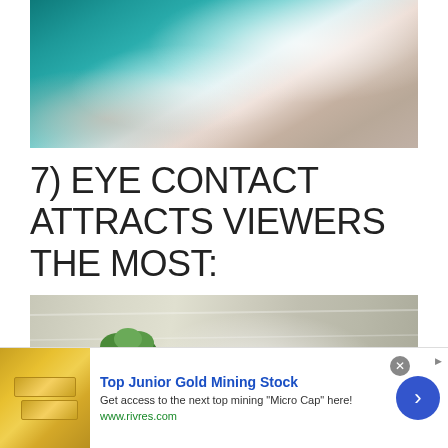[Figure (photo): Aerial view of ocean waves crashing on a sandy beach, showing turquoise water meeting white foam and brown sand, with tiny surfers visible]
7) EYE CONTACT ATTRACTS VIEWERS THE MOST:
[Figure (photo): Aerial view of a person standing at the edge of a waterfall or rapids, wearing a green hat and blue outfit, surrounded by white rushing water]
[Figure (infographic): Advertisement banner for Top Junior Gold Mining Stock showing gold bars image, ad title, body text, and call-to-action arrow button. Text: Top Junior Gold Mining Stock. Get access to the next top mining "Micro Cap" here! www.rivres.com]